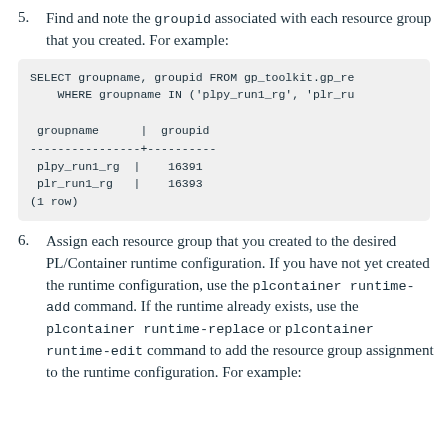5. Find and note the groupid associated with each resource group that you created. For example:
SELECT groupname, groupid FROM gp_toolkit.gp_re    WHERE groupname IN ('plpy_run1_rg', 'plr_ru

 groupname   |  groupid
----------------+----------
 plpy_run1_rg |    16391
 plr_run1_rg  |    16393
(1 row)
6. Assign each resource group that you created to the desired PL/Container runtime configuration. If you have not yet created the runtime configuration, use the plcontainer runtime-add command. If the runtime already exists, use the plcontainer runtime-replace or plcontainer runtime-edit command to add the resource group assignment to the runtime configuration. For example: